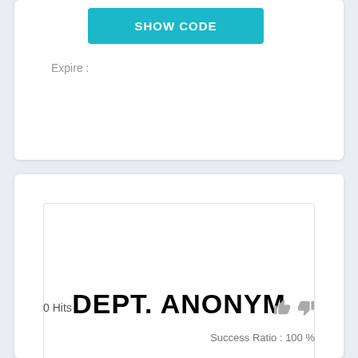SHOW CODE
Expire :
[Figure (logo): DEPT. ANONYM logo in bold black uppercase letters on white background]
0 Hits
Success Ratio : 100 %